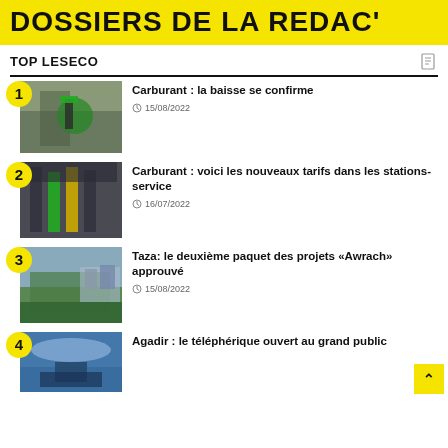DOSSIERS DE LA REDAC'
TOP LESECO
Carburant : la baisse se confirme
Carburant : voici les nouveaux tarifs dans les stations-service
Taza: le deuxième paquet des projets «Awrach» approuvé
Agadir : le téléphérique ouvert au grand public